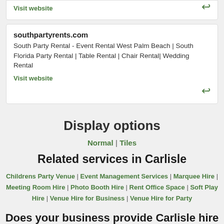Visit website
southpartyrents.com
South Party Rental - Event Rental West Palm Beach | South Florida Party Rental | Table Rental | Chair Rental| Wedding Rental
Visit website
Display options
Normal | Tiles
Related services in Carlisle
Childrens Party Venue | Event Management Services | Marquee Hire | Meeting Room Hire | Photo Booth Hire | Rent Office Space | Soft Play Hire | Venue Hire for Business | Venue Hire for Party
Does your business provide Carlisle hire